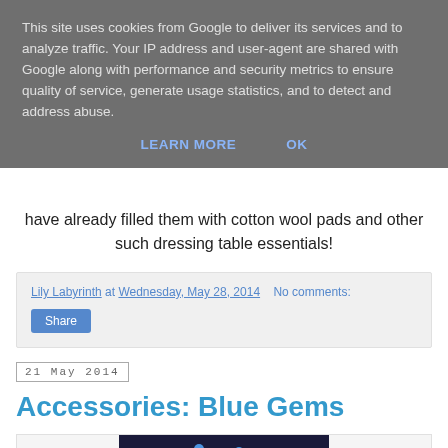This site uses cookies from Google to deliver its services and to analyze traffic. Your IP address and user-agent are shared with Google along with performance and security metrics to ensure quality of service, generate usage statistics, and to detect and address abuse.
LEARN MORE    OK
have already filled them with cotton wool pads and other such dressing table essentials!
Lily Labyrinth at Wednesday, May 28, 2014    No comments:
Share
21 May 2014
Accessories: Blue Gems
[Figure (photo): Photo of a decorative jewelry piece or accessory with blue and green gems on a dark background with metallic elements]